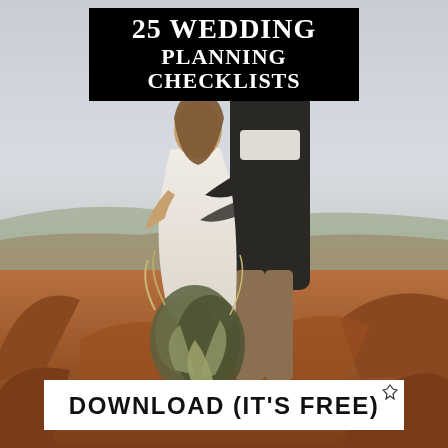[Figure (photo): A couple standing on a red rock canyon overlook. The woman is in a white dress holding a large dried floral bouquet; the man is in a dark blazer. Desert landscape with muted sky in background.]
25 WEDDING PLANNING CHECKLISTS
DOWNLOAD (IT'S FREE)